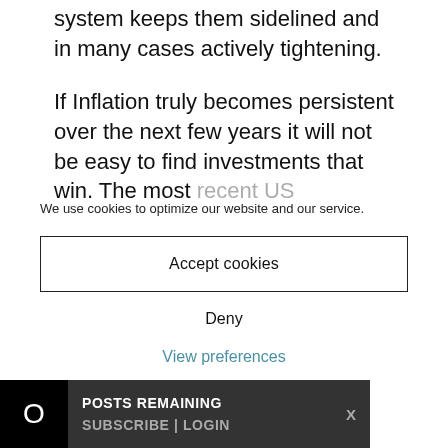system keeps them sidelined and in many cases actively tightening.
If Inflation truly becomes persistent over the next few years it will not be easy to find investments that win. The most recent US experience with high inflation
We use cookies to optimize our website and our service.
Accept cookies
Deny
View preferences
0 POSTS REMAINING X SUBSCRIBE | LOGIN